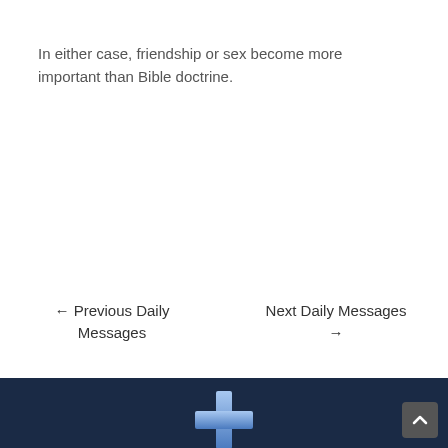In either case, friendship or sex become more important than Bible doctrine.
← Previous Daily Messages    Next Daily Messages →